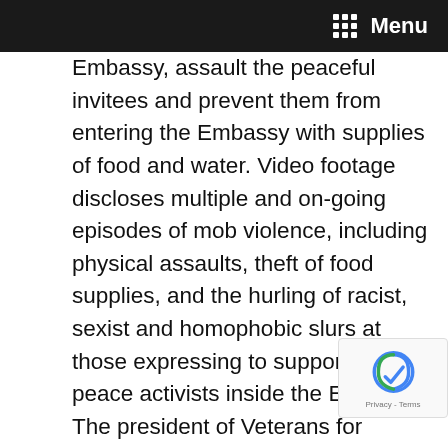Menu
Embassy, assault the peaceful invitees and prevent them from entering the Embassy with supplies of food and water. Video footage discloses multiple and on-going episodes of mob violence, including physical assaults, theft of food supplies, and the hurling of racist, sexist and homophobic slurs at those expressing to support the peace activists inside the Embassy. The president of Veterans for Peace was tackled, bloodied and arrested by Secret Service agents to prevent him from delivering food to the invitees. This week, apparently at the behest of the U.S. State Department and with no notice or due process as required law, the utility company Pepco cut off